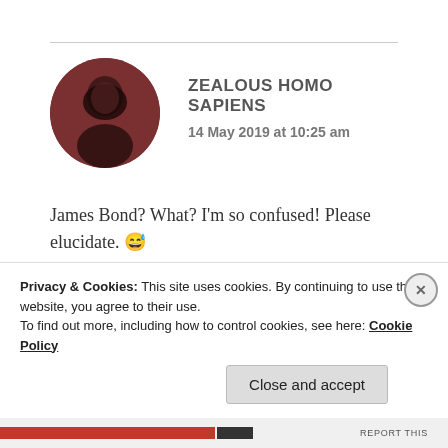ZEALOUS HOMO SAPIENS
14 May 2019 at 10:25 am
James Bond? What? I'm so confused! Please elucidate. 😅
Thank you!
★ Liked by 1 person
REPLY
Privacy & Cookies: This site uses cookies. By continuing to use this website, you agree to their use.
To find out more, including how to control cookies, see here: Cookie Policy
Close and accept